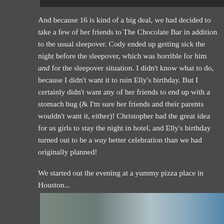[Figure (photo): Top portion of a photo visible at the top of the page]
And because 16 is kind of a big deal, we had decided to take a few of her friends to The Chocolate Bar in addition to the usual sleepover. Cody ended up getting sick the night before the sleepover, which was horrible for him and for the sleepover situation. I didn't know what to do, because I didn't want it to ruin Elly's birthday. But I certainly didn't want any of her friends to end up with a stomach bug (& I'm sure her friends and their parents wouldn't want it, either)! Christopher had the great idea for us girls to stay the night in hotel, and Elly's birthday turned out to be a way better celebration than we had originally planned!
We started out the evening at a yummy pizza place in Houston...
[Figure (photo): Bottom portion showing exterior of a building with wooden siding and blue sky]